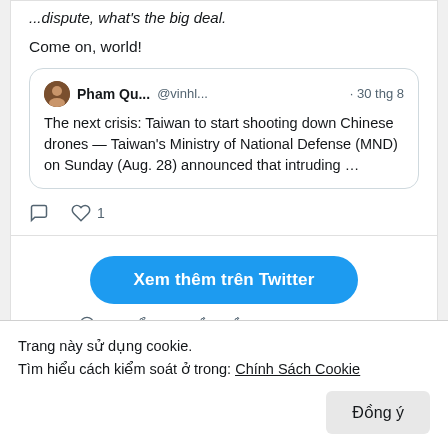...dispute, what's the big deal.
Come on, world!
[Figure (screenshot): Quoted tweet by Pham Qu... @vinhl... · 30 thg 8: The next crisis: Taiwan to start shooting down Chinese drones — Taiwan's Ministry of National Defense (MND) on Sunday (Aug. 28) announced that intruding ...]
Xem thêm trên Twitter
Tìm hiểu thêm về quyền riêng tư trên Twitter
Trang này sử dụng cookie.
Tìm hiểu cách kiểm soát ở trong: Chính Sách Cookie
Đồng ý